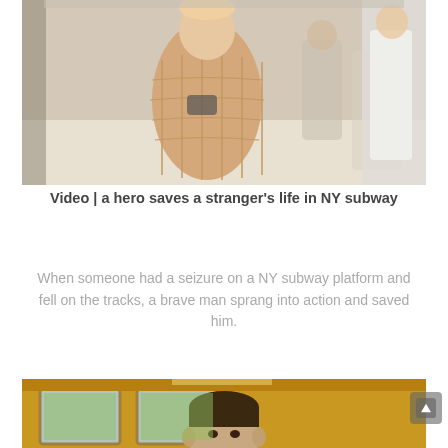[Figure (screenshot): Video thumbnail showing a person in a beige/tan puffer jacket on a NY subway platform/train, blurry background with other people]
Video | a hero saves a stranger's life in NY subway
When someone had a seizure on a NY subway platform and fell on the tracks, a brave man sprang into action and saved him.
[Figure (screenshot): Video thumbnail showing a young teen boy in a black shirt seated on a school bus, with a play button overlay in the center]
Video | young teen heroes save bus driver and